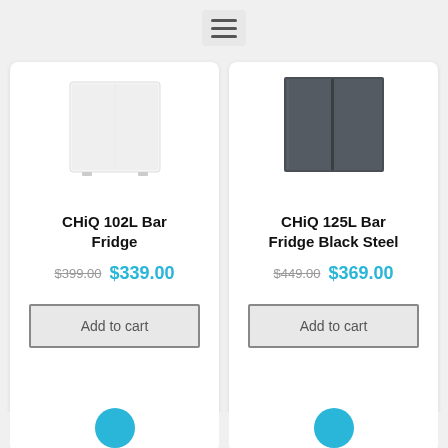[Figure (other): Hamburger/menu icon with three horizontal lines on a light gray rounded square background]
[Figure (photo): White bar fridge product image]
CHiQ 102L Bar Fridge
$399.00 $339.00
Add to cart
[Figure (photo): Dark gray/black steel bar fridge product image]
CHiQ 125L Bar Fridge Black Steel
$449.00 $369.00
Add to cart